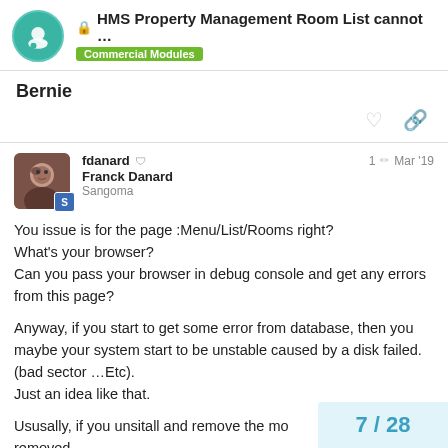HMS Property Management Room List cannot ... — Commercial Modules
Bernie
fdanard  Franck Danard  Sangoma  1  Mar '19
You issue is for the page :Menu/List/Rooms right?
What's your browser?
Can you pass your browser in debug console and get any errors from this page?

Anyway, if you start to get some error from database, then you maybe your system start to be unstable caused by a disk failed. (bad sector …Etc).
Just an idea like that.

Ususally, if you unsitall and remove the mo...
removed
7 / 28